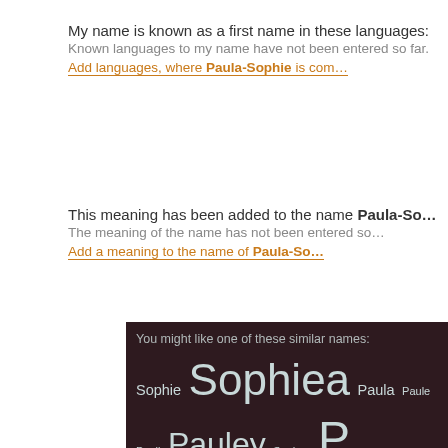My name is known as a first name in these languages:
Known languages to my name have not been entered so far.
Add languages, where Paula-Sophie is com...
This meaning has been added to the name Paula-Sophie:
The meaning of the name has not been entered so...
Add a meaning to the name of Paula-Sophie...
You might like one of these similar names: Sophie Sophiea Paula Paule Pauli Pauley Sophye Poula Sofie Sophy Sopio Pavola Saphia Ploy Pola Sape Sofi Phila Phyla Pihla Polli Saibe